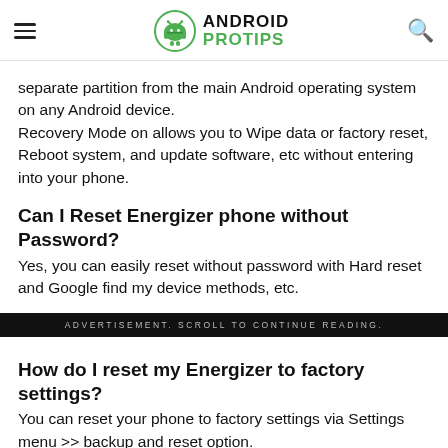ANDROID PROTIPS
separate partition from the main Android operating system on any Android device. Recovery Mode on allows you to Wipe data or factory reset, Reboot system, and update software, etc without entering into your phone.
Can I Reset Energizer phone without Password?
Yes, you can easily reset without password with Hard reset and Google find my device methods, etc.
ADVERTISEMENT. SCROLL TO CONTINUE READING.
How do I reset my Energizer to factory settings?
You can reset your phone to factory settings via Settings menu >> backup and reset option.